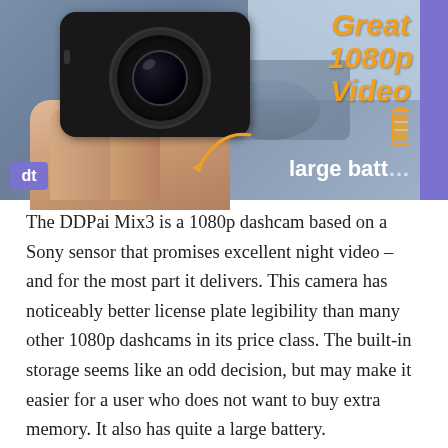[Figure (photo): A hand holding a black DDPai Mix3 dashcam against a blurred car background. Orange italic text overlay reads 'Great 1080p Video' and white text reads 'large batt...' with a battery icon. A purple sidebar is on the right edge. A purple logo badge is in the bottom-left corner. An arrow/curve points to the camera.]
The DDPai Mix3 is a 1080p dashcam based on a Sony sensor that promises excellent night video – and for the most part it delivers. This camera has noticeably better license plate legibility than many other 1080p dashcams in its price class. The built-in storage seems like an odd decision, but may make it easier for a user who does not want to buy extra memory. It also has quite a large battery.